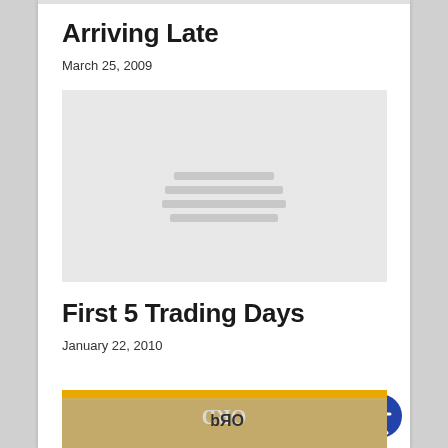Arriving Late
March 25, 2009
[Figure (photo): Placeholder image with loading indicator lines, light gray background]
First 5 Trading Days
January 22, 2010
[Figure (photo): Partial image at page bottom showing what appears to be text on paper with orange/yellow overlay, image partially visible]